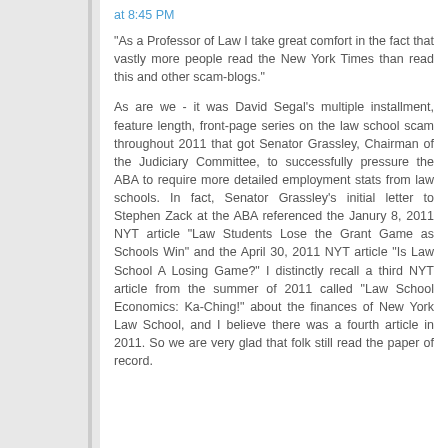at 8:45 PM
"As a Professor of Law I take great comfort in the fact that vastly more people read the New York Times than read this and other scam-blogs."
As are we - it was David Segal's multiple installment, feature length, front-page series on the law school scam throughout 2011 that got Senator Grassley, Chairman of the Judiciary Committee, to successfully pressure the ABA to require more detailed employment stats from law schools. In fact, Senator Grassley's initial letter to Stephen Zack at the ABA referenced the Janury 8, 2011 NYT article "Law Students Lose the Grant Game as Schools Win" and the April 30, 2011 NYT article "Is Law School A Losing Game?" I distinctly recall a third NYT article from the summer of 2011 called "Law School Economics: Ka-Ching!" about the finances of New York Law School, and I believe there was a fourth article in 2011. So we are very glad that folk still read the paper of record.